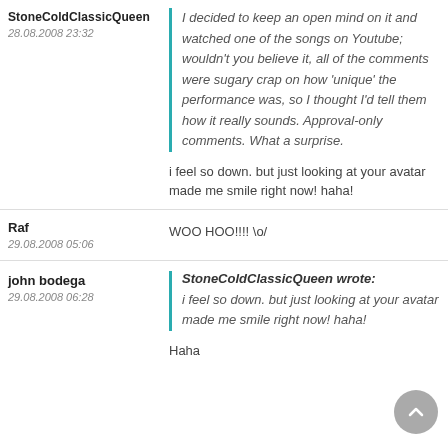StoneColdClassicQueen
28.08.2008 23:32
I decided to keep an open mind on it and watched one of the songs on Youtube; wouldn't you believe it, all of the comments were sugary crap on how 'unique' the performance was, so I thought I'd tell them how it really sounds. Approval-only comments. What a surprise.
i feel so down. but just looking at your avatar made me smile right now! haha!
Raf
29.08.2008 05:06
WOO HOO!!!! \o/
john bodega
29.08.2008 06:28
StoneColdClassicQueen wrote: i feel so down. but just looking at your avatar made me smile right now! haha!
Haha